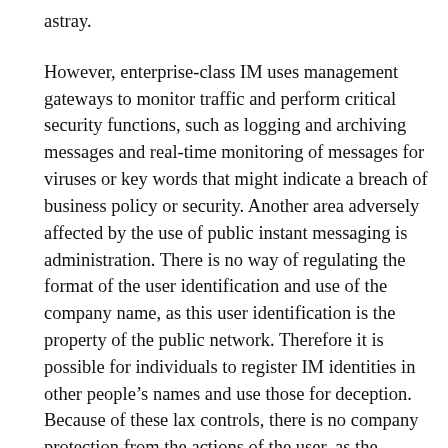astray.
However, enterprise-class IM uses management gateways to monitor traffic and perform critical security functions, such as logging and archiving messages and real-time monitoring of messages for viruses or key words that might indicate a breach of business policy or security. Another area adversely affected by the use of public instant messaging is administration. There is no way of regulating the format of the user identification and use of the company name, as this user identification is the property of the public network. Therefore it is possible for individuals to register IM identities in other people’s names and use those for deception. Because of these lax controls, there is no company protection from the actions of the user, as the public